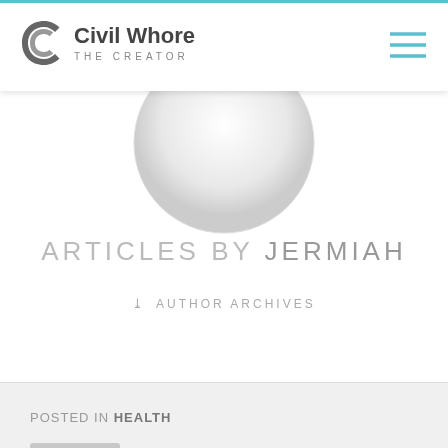Civil Whore The Creator
[Figure (illustration): Circular profile avatar placeholder with light gray gradient]
ARTICLES BY JERMIAH
AUTHOR ARCHIVES
POSTED IN HEALTH
MASK